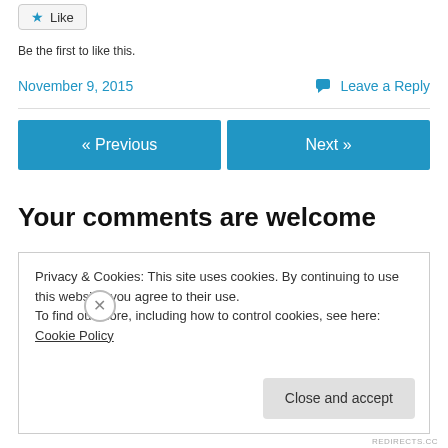★ Like
Be the first to like this.
November 9, 2015
💬 Leave a Reply
« Previous
Next »
Your comments are welcome
Privacy & Cookies: This site uses cookies. By continuing to use this website, you agree to their use.
To find out more, including how to control cookies, see here: Cookie Policy
Close and accept